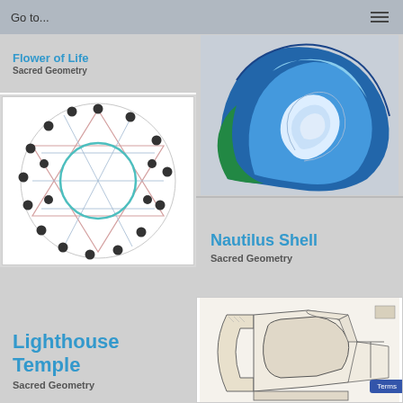Go to...
Flower of Life
Sacred Geometry
[Figure (illustration): Sacred geometry circle diagram with Star of David, teal inner circle, and black dots arranged in a ring around a larger outer circle]
Lighthouse Temple
Sacred Geometry
[Figure (photo): Blue nautilus shell cross-section showing spiral pattern on grey background]
Nautilus Shell
Sacred Geometry
[Figure (engineering-diagram): Architectural floor plan drawing showing curved and angular rooms]